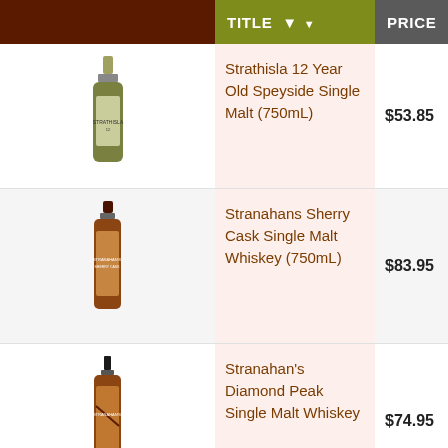|  | TITLE | PRICE |  |
| --- | --- | --- | --- |
| [bottle image] | Strathisla 12 Year Old Speyside Single Malt (750mL) | $53.85 | We're sorry, product is currently not available |
| [bottle image] | Stranahans Sherry Cask Single Malt Whiskey (750mL) | $83.95 | In stock | ADD TO [CART] |
| [bottle image] | Stranahan's Diamond Peak Single Malt Whiskey | $74.95 | In stock | ADD TO [CART] |
| [bottle image] | Stranahan's ... |  | In s... |